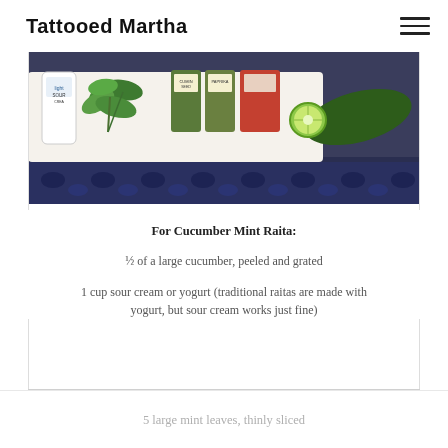Tattooed Martha
[Figure (photo): Ingredients for Cucumber Mint Raita on a cutting board: sour cream container, fresh mint leaves, spice jars (cumin seed, paprika), a jar of something red, and a sliced cucumber, on a blue and white damask tablecloth.]
For Cucumber Mint Raita:
½ of a large cucumber, peeled and grated
1 cup sour cream or yogurt (traditional raitas are made with yogurt, but sour cream works just fine)
5 large mint leaves, thinly sliced